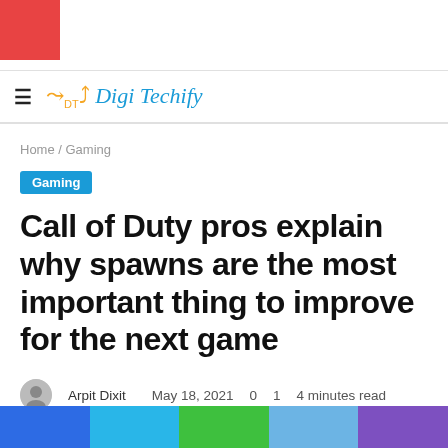Digi Techify
Home / Gaming
Gaming
Call of Duty pros explain why spawns are the most important thing to improve for the next game
Arpit Dixit   May 18, 2021   0   1   4 minutes read